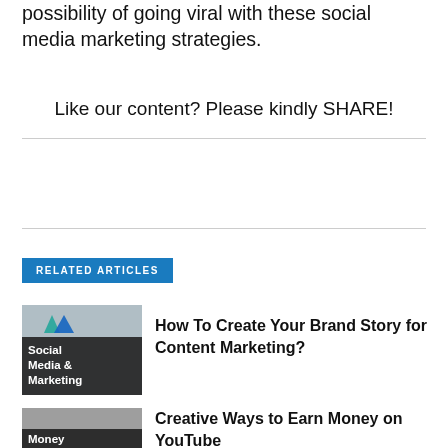possibility of going viral with these social media marketing strategies.
Like our content? Please kindly SHARE!
RELATED ARTICLES
[Figure (illustration): Social Media & Marketing thumbnail with arrow logo icons]
How To Create Your Brand Story for Content Marketing?
[Figure (illustration): Money category thumbnail]
Creative Ways to Earn Money on YouTube